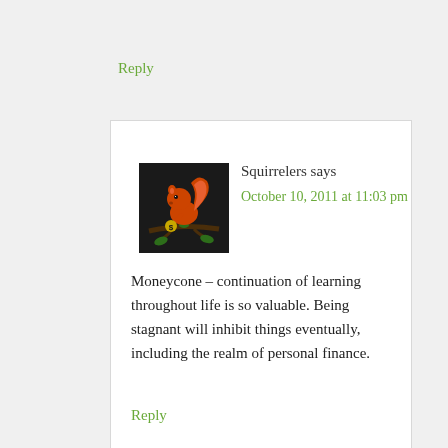Reply
[Figure (illustration): Squirrel mascot avatar: orange/red squirrel sitting on a branch holding a dollar sign coin, on a dark/black background]
Squirrelers says
October 10, 2011 at 11:03 pm
Moneycone – continuation of learning throughout life is so valuable. Being stagnant will inhibit things eventually, including the realm of personal finance.
Reply